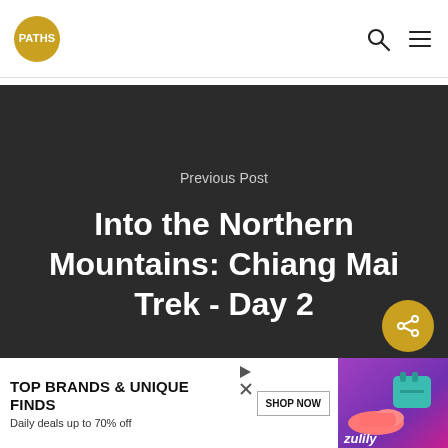PATHS (logo)
Previous Post
Into the Northern Mountains: Chiang Mai Trek - Day 2
[Figure (other): Advertisement banner: TOP BRANDS & UNIQUE FINDS, Daily deals up to 70% off, SHOP NOW, Zulily]